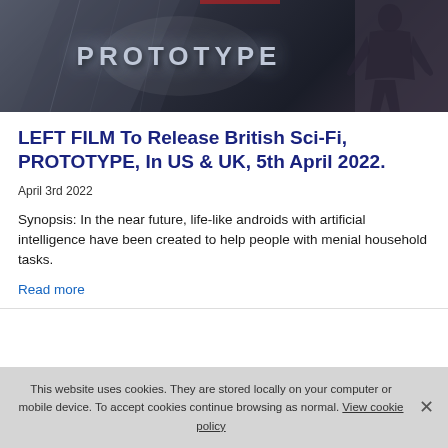[Figure (illustration): Sci-fi movie banner for PROTOTYPE showing the word PROTOTYPE in metallic styled letters with a dark futuristic background and a human silhouette on the right]
LEFT FILM To Release British Sci-Fi, PROTOTYPE, In US & UK, 5th April 2022.
April 3rd 2022
Synopsis: In the near future, life-like androids with artificial intelligence have been created to help people with menial household tasks.
Read more
This website uses cookies. They are stored locally on your computer or mobile device. To accept cookies continue browsing as normal. View cookie policy